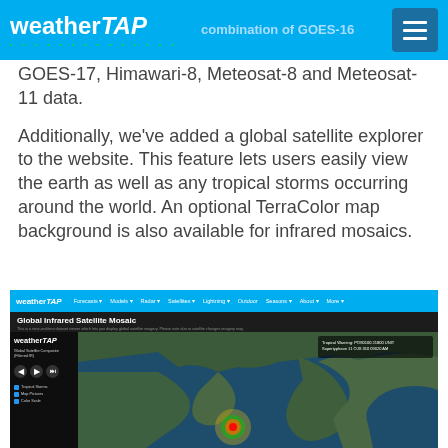weatherTAP — combination of GOES-16, GOES-17, Himawari-8, Meteosat-8 and Meteosat-11 data.
Additionally, we've added a global satellite explorer to the website. This feature lets users easily view the earth as well as any tropical storms occurring around the world. An optional TerraColor map background is also available for infrared mosaics.
[Figure (screenshot): Screenshot of the weatherTAP website showing the Global Infrared Satellite Mosaic page with a satellite map of Earth displaying a tropical storm system over the Indian Ocean region, with a sidebar showing navigation controls and checkboxes for Tropical Storms, Map Pictures, and Color Scale options.]